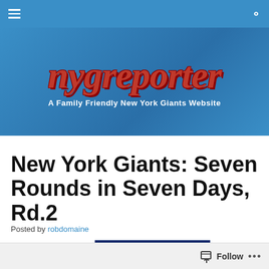Navigation bar with hamburger menu and search icon
[Figure (logo): NYG Reporter logo banner — 'nygreporter' in bold red italic serif font on a blue gradient background, with subtitle 'A Family Friendly New York Giants Website']
New York Giants: Seven Rounds in Seven Days, Rd.2
Posted by robdomaine
[Figure (screenshot): Small thumbnail image showing the NYG Reporter logo on a dark blue background]
Follow ...